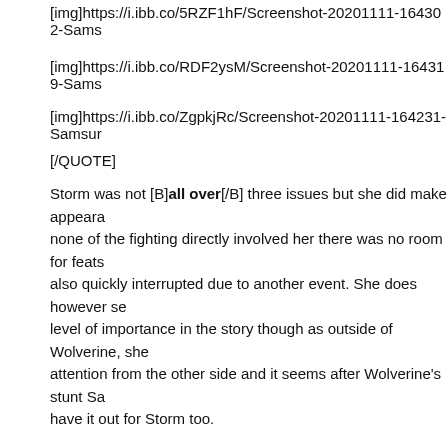[img]https://i.ibb.co/5RZF1hF/Screenshot-20201111-164302-Sams
[img]https://i.ibb.co/RDF2ysM/Screenshot-20201111-164319-Sams
[img]https://i.ibb.co/ZgpkjRc/Screenshot-20201111-164231-Samsung [/QUOTE]
Storm was not [B]all over[/B] three issues but she did make appearances, none of the fighting directly involved her there was no room for feats as she was also quickly interrupted due to another event. She does however seem to have a level of importance in the story though as outside of Wolverine, she seems to draw attention from the other side and it seems after Wolverine's stunt Sa have it out for Storm too.
I'm not sure what's happening in this BP picture as it relates to a Sto an idea but for me the illustration isn't clear. If it is what I think it cou cool. If not, then she's just shooting lightning lol. Since they specifica first I'm assuming it's my first idea.
Sdawg
Sorry didn't add quote